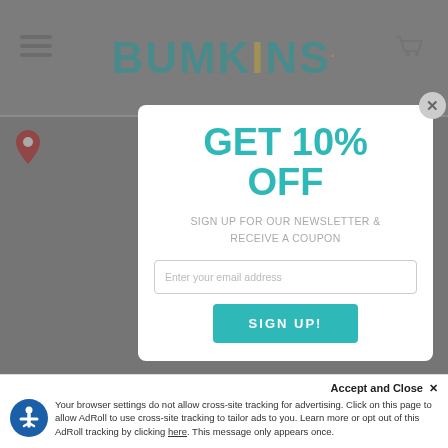[Figure (screenshot): Bumkins website screenshot showing navigation bar with hamburger menu, Bumkins teal logo, and shopping cart icon. Background shows store locator page with red location pin icons. A modal popup overlays the page offering 10% off for newsletter signup, with email input and Sign Up button. At the bottom is an AdRoll cookie consent bar with accessibility icon.]
GET 10% OFF
SIGN UP FOR OUR NEWSLETTER & RECEIVE A COUPON
Enter your email address
SIGN UP!
Accept and Close ✕
Your browser settings do not allow cross-site tracking for advertising. Click on this page to allow AdRoll to use cross-site tracking to tailor ads to you. Learn more or opt out of this AdRoll tracking by clicking here. This message only appears once.